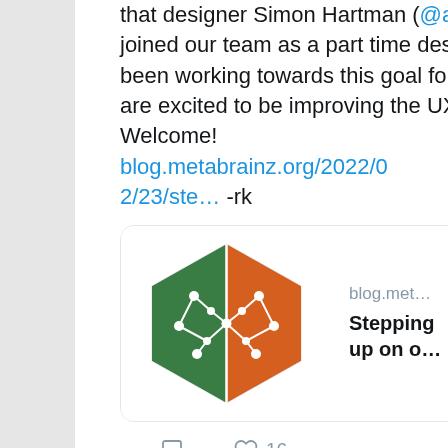that designer Simon Hartman (@aerozol2) has joined our team as a part time designer! We've been working towards this goal for years and are excited to be improving the UX of our sites. Welcome! blog.metabrainz.org/2022/02/23/ste… -rk
[Figure (screenshot): Link preview card showing MetaBrainz logo (green and orange hexagon with circuit-like pattern) on the left, and on the right: 'blog.met...' domain text and 'Stepping up on o...' title text]
16 (likes)
View more on Twitter
Learn more about privacy on Twitter